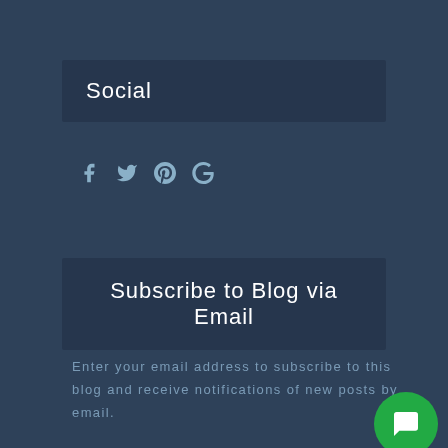Social
[Figure (infographic): Social media icons: Facebook, Twitter, Pinterest, Google+]
Subscribe to Blog via Email
Enter your email address to subscribe to this blog and receive notifications of new posts by email.
Email Address